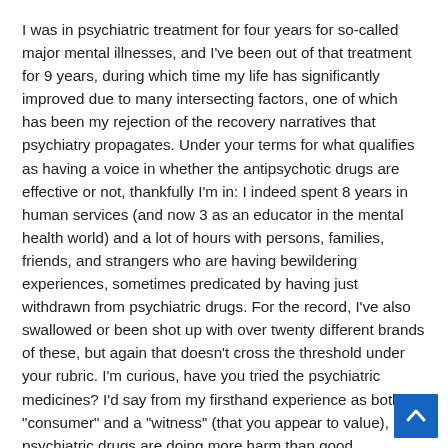I was in psychiatric treatment for four years for so-called major mental illnesses, and I've been out of that treatment for 9 years, during which time my life has significantly improved due to many intersecting factors, one of which has been my rejection of the recovery narratives that psychiatry propagates. Under your terms for what qualifies as having a voice in whether the antipsychotic drugs are effective or not, thankfully I'm in: I indeed spent 8 years in human services (and now 3 as an educator in the mental health world) and a lot of hours with persons, families, friends, and strangers who are having bewildering experiences, sometimes predicated by having just withdrawn from psychiatric drugs. For the record, I've also swallowed or been shot up with over twenty different brands of these, but again that doesn't cross the threshold under your rubric. I'm curious, have you tried the psychiatric medicines? I'd say from my firsthand experience as both a "consumer" and a "witness" (that you appear to value), most psychiatric drugs are doing more harm than good.
[Figure (other): Blue scroll-to-top button with upward chevron arrow in bottom-right corner]